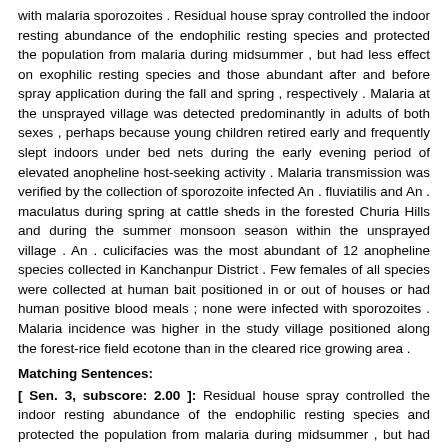with malaria sporozoites . Residual house spray controlled the indoor resting abundance of the endophilic resting species and protected the population from malaria during midsummer , but had less effect on exophilic resting species and those abundant after and before spray application during the fall and spring , respectively . Malaria at the unsprayed village was detected predominantly in adults of both sexes , perhaps because young children retired early and frequently slept indoors under bed nets during the early evening period of elevated anopheline host-seeking activity . Malaria transmission was verified by the collection of sporozoite infected An . fluviatilis and An . maculatus during spring at cattle sheds in the forested Churia Hills and during the summer monsoon season within the unsprayed village . An . culicifacies was the most abundant of 12 anopheline species collected in Kanchanpur District . Few females of all species were collected at human bait positioned in or out of houses or had human positive blood meals ; none were infected with sporozoites . Malaria incidence was higher in the study village positioned along the forest-rice field ecotone than in the cleared rice growing area .
Matching Sentences:
[ Sen. 3, subscore: 2.00 ]: Residual house spray controlled the indoor resting abundance of the endophilic resting species and protected the population from malaria during midsummer , but had less effect on exophilic resting species and those abundant after and before spray application during the fall and spring , respectively .
[ Sen. 1, subscore: 1.00 ]: The ecology of Anopheles mosquitoes in relation to malaria transmission was studied at sprayed and unsprayed villages and two unsprayed cattle sheds in the inner terai of Sindhuli District , Central Region , and at two unsprayed villages and one cattle shed in Kanchanpur , Far Western Region of Nepal , from August 1987 to August 1989 .